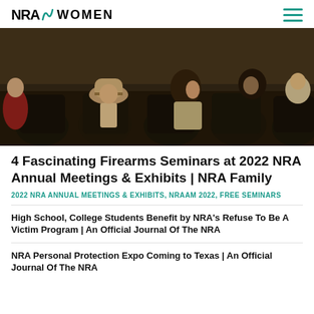NRA WOMEN
[Figure (photo): Audience members seated from behind in a conference/seminar setting, showing people in chairs including someone wearing a tan cowboy hat]
4 Fascinating Firearms Seminars at 2022 NRA Annual Meetings & Exhibits | NRA Family
2022 NRA ANNUAL MEETINGS & EXHIBITS, NRAAM 2022, FREE SEMINARS
High School, College Students Benefit by NRA's Refuse To Be A Victim Program | An Official Journal Of The NRA
NRA Personal Protection Expo Coming to Texas | An Official Journal Of The NRA